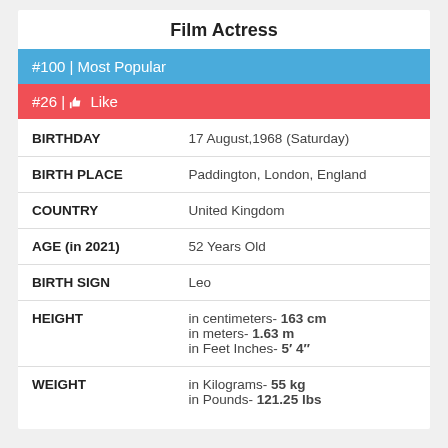Film Actress
#100 | Most Popular
#26 | Like
| Field | Value |
| --- | --- |
| BIRTHDAY | 17 August,1968 (Saturday) |
| BIRTH PLACE | Paddington, London, England |
| COUNTRY | United Kingdom |
| AGE (in 2021) | 52 Years Old |
| BIRTH SIGN | Leo |
| HEIGHT | in centimeters- 163 cm
in meters- 1.63 m
in Feet Inches- 5′ 4″ |
| WEIGHT | in Kilograms- 55 kg
in Pounds- 121.25 lbs |